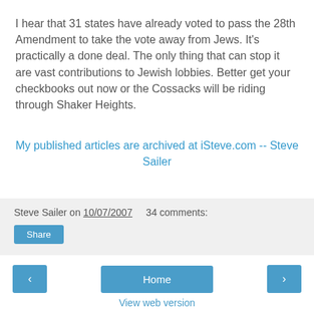I hear that 31 states have already voted to pass the 28th Amendment to take the vote away from Jews. It's practically a done deal. The only thing that can stop it are vast contributions to Jewish lobbies. Better get your checkbooks out now or the Cossacks will be riding through Shaker Heights.
My published articles are archived at iSteve.com -- Steve Sailer
Steve Sailer on 10/07/2007   34 comments:
Share
< Home >
View web version